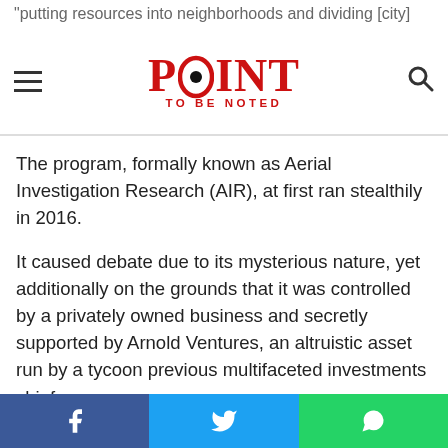"putting resources into neighborhoods and dividing [city] depending on some plane"
[Figure (logo): Point To Be Noted logo with red text and bullet point inside the O, hamburger menu icon on left, search icon on right]
The program, formally known as Aerial Investigation Research (AIR), at first ran stealthily in 2016.
It caused debate due to its mysterious nature, yet additionally on the grounds that it was controlled by a privately owned business and secretly supported by Arnold Ventures, an altruistic asset run by a tycoon previous multifaceted investments chief.
Determined Surveillance Systems was set up by Ross McNutt, an astronautical specialist. He originally built up a reconnaissance framework for the US military which was utilized in Iraq, and later
Facebook | Twitter | WhatsApp social share buttons